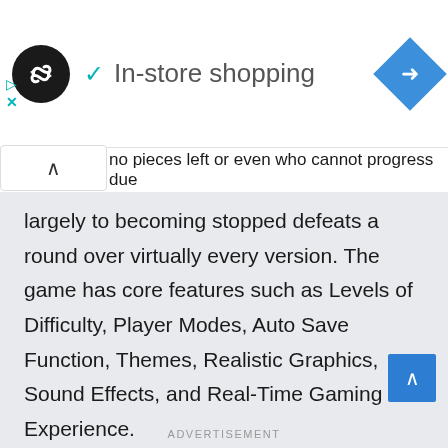[Figure (logo): Black circle logo with infinity-like symbol, checkmark with In-store shopping text, blue diamond navigation icon]
no pieces left or even who cannot progress due
largely to becoming stopped defeats a round over virtually every version. The game has core features such as Levels of Difficulty, Player Modes, Auto Save Function, Themes, Realistic Graphics, Sound Effects, and Real-Time Gaming Experience.
[Figure (infographic): Android robot icon and PlayStation logo icon]
SHOW DETAILS
ADVERTISEMENT